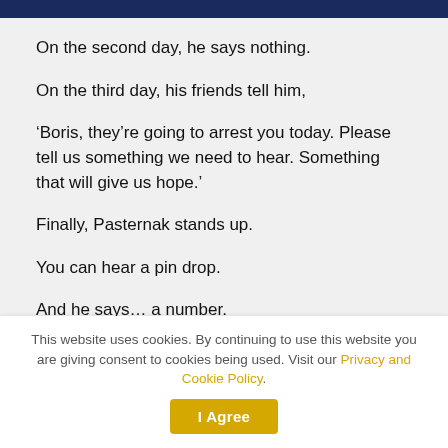On the second day, he says nothing.
On the third day, his friends tell him,
‘Boris, they’re going to arrest you today. Please tell us something we need to hear. Something that will give us hope.’
Finally, Pasternak stands up.
You can hear a pin drop.
And he says… a number.
Everyone in the room understands at once what he’s
This website uses cookies. By continuing to use this website you are giving consent to cookies being used. Visit our Privacy and Cookie Policy.